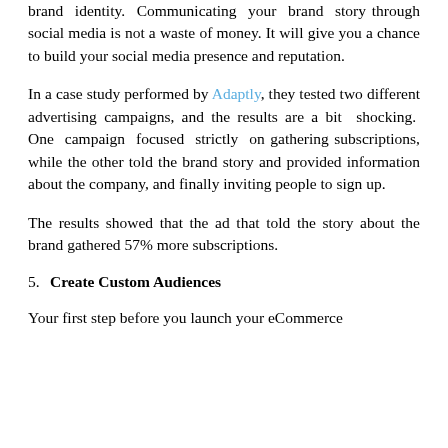brand identity. Communicating your brand story through social media is not a waste of money. It will give you a chance to build your social media presence and reputation.
In a case study performed by Adaptly, they tested two different advertising campaigns, and the results are a bit shocking. One campaign focused strictly on gathering subscriptions, while the other told the brand story and provided information about the company, and finally inviting people to sign up.
The results showed that the ad that told the story about the brand gathered 57% more subscriptions.
5. Create Custom Audiences
Your first step before you launch your eCommerce